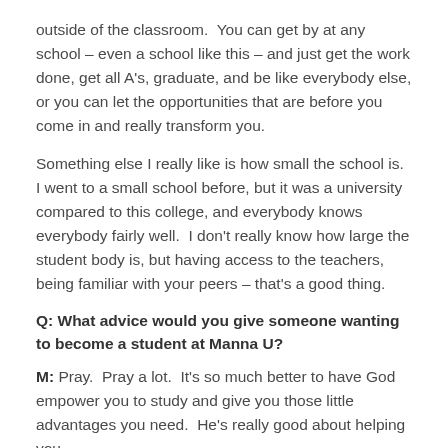outside of the classroom.  You can get by at any school – even a school like this – and just get the work done, get all A's, graduate, and be like everybody else, or you can let the opportunities that are before you come in and really transform you.
Something else I really like is how small the school is.  I went to a small school before, but it was a university compared to this college, and everybody knows everybody fairly well.  I don't really know how large the student body is, but having access to the teachers, being familiar with your peers – that's a good thing.
Q: What advice would you give someone wanting to become a student at Manna U?
M: Pray.  Pray a lot.  It's so much better to have God empower you to study and give you those little advantages you need.  He's really good about helping you